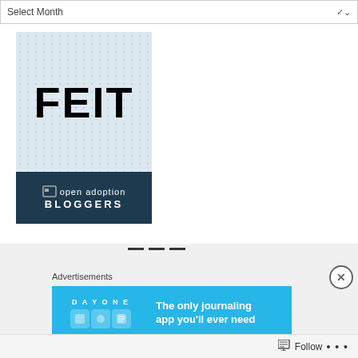Select Month
[Figure (logo): FEIT logo on light blue dotted background, with 'open adoption bloggers' banner in dark navy below]
Advertisements
[Figure (screenshot): DAY ONE journaling app advertisement banner with blue background, icons, and text: The only journaling app you'll ever need]
Follow